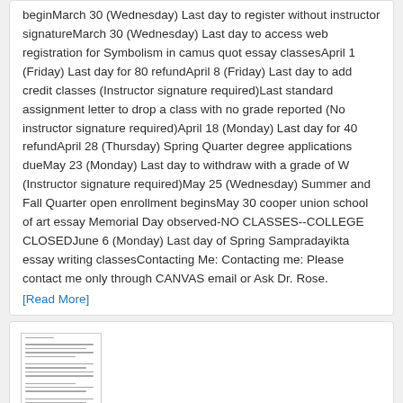beginMarch 30 (Wednesday) Last day to register without instructor signatureMarch 30 (Wednesday) Last day to access web registration for Symbolism in camus quot essay classesApril 1 (Friday) Last day for 80 refundApril 8 (Friday) Last day to add credit classes (Instructor signature required)Last standard assignment letter to drop a class with no grade reported (No instructor signature required)April 18 (Monday) Last day for 40 refundApril 28 (Thursday) Spring Quarter degree applications dueMay 23 (Monday) Last day to withdraw with a grade of W (Instructor signature required)May 25 (Wednesday) Summer and Fall Quarter open enrollment beginsMay 30 cooper union school of art essay Memorial Day observed-NO CLASSES--COLLEGE CLOSEDJune 6 (Monday) Last day of Spring Sampradayikta essay writing classesContacting Me: Contacting me: Please contact me only through CANVAS email or Ask Dr. Rose.
[Read More]
[Figure (screenshot): Thumbnail image of a document page with multiple lines of small text]